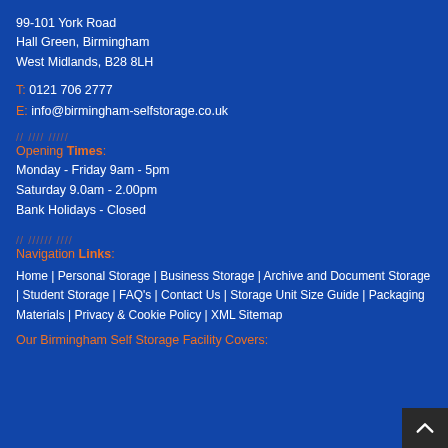99-101 York Road
Hall Green, Birmingham
West Midlands, B28 8LH
T: 0121 706 2777
E: info@birmingham-selfstorage.co.uk
Opening Times:
Monday - Friday 9am - 5pm
Saturday 9.0am - 2.00pm
Bank Holidays - Closed
Navigation Links:
Home | Personal Storage | Business Storage | Archive and Document Storage | Student Storage | FAQ's | Contact Us | Storage Unit Size Guide | Packaging Materials | Privacy & Cookie Policy | XML Sitemap
Our Birmingham Self Storage Facility Covers: